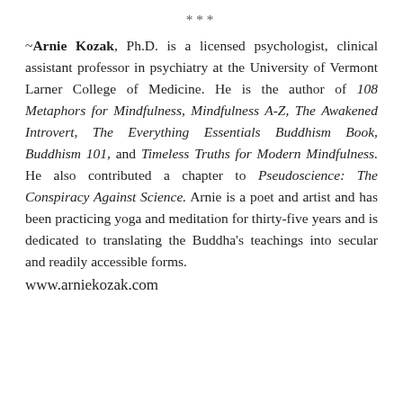***
~Arnie Kozak, Ph.D. is a licensed psychologist, clinical assistant professor in psychiatry at the University of Vermont Larner College of Medicine. He is the author of 108 Metaphors for Mindfulness, Mindfulness A-Z, The Awakened Introvert, The Everything Essentials Buddhism Book, Buddhism 101, and Timeless Truths for Modern Mindfulness. He also contributed a chapter to Pseudoscience: The Conspiracy Against Science. Arnie is a poet and artist and has been practicing yoga and meditation for thirty-five years and is dedicated to translating the Buddha's teachings into secular and readily accessible forms.
www.arniekozak.com